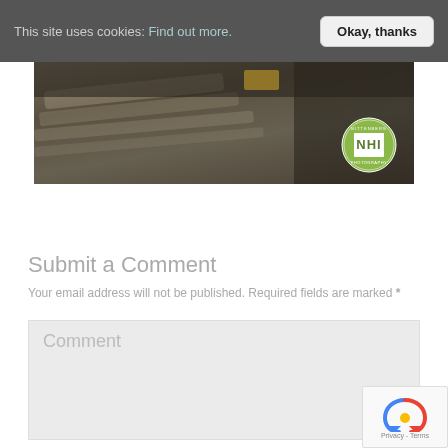This site uses cookies: Find out more.   Okay, thanks
[Figure (photo): Header banner image showing gravel/dirt ground with construction equipment in background and a green circular logo (NHI Photography) in the bottom right corner]
Submit a Comment
Your email address will not be published. Required fields are marked *
Comment